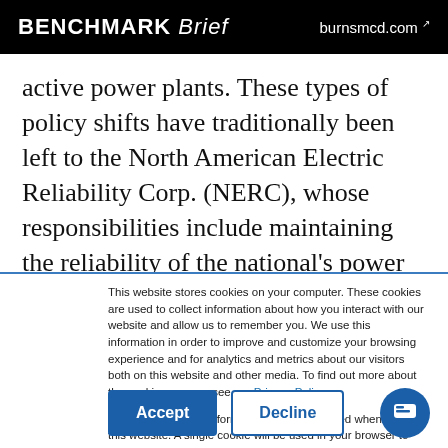BENCHMARK Brief   burnsmcd.com
active power plants. These types of policy shifts have traditionally been left to the North American Electric Reliability Corp. (NERC), whose responsibilities include maintaining the reliability of the national's power grid, and to economic forces,
This website stores cookies on your computer. These cookies are used to collect information about how you interact with our website and allow us to remember you. We use this information in order to improve and customize your browsing experience and for analytics and metrics about our visitors both on this website and other media. To find out more about the cookies we use, see our Privacy Policy.
If you decline, your information won't be tracked when you visit this website. A single cookie will be used in your browser to remember your preference not to be tracked.